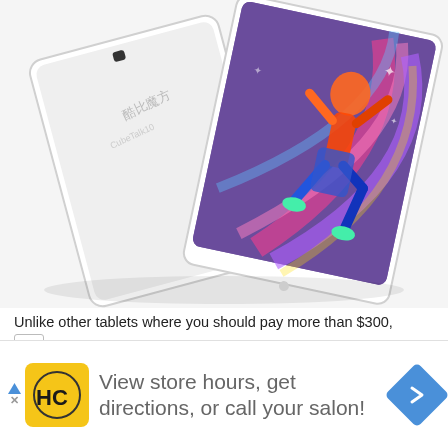[Figure (photo): Two white tablets shown at an angle — one showing its white back, one showing a colorful dancer on the display screen against a purple/blue background. Chinese text visible on back of tablet.]
Unlike other tablets where you should pay more than $300,
he is quite affordable and at the same time reliable. The
[Figure (infographic): Advertisement banner with yellow HC logo (HairClub), text 'View store hours, get directions, or call your salon!', blue navigation arrow icon on right, and small blue triangle play button with X on the left edge.]